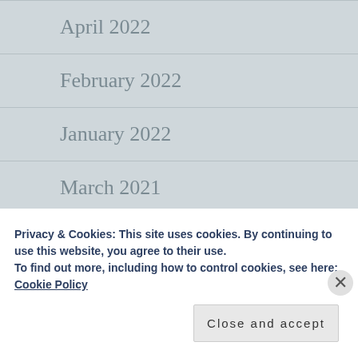April 2022
February 2022
January 2022
March 2021
January 2021
March 2019
February 2019
Privacy & Cookies: This site uses cookies. By continuing to use this website, you agree to their use.
To find out more, including how to control cookies, see here: Cookie Policy
Close and accept